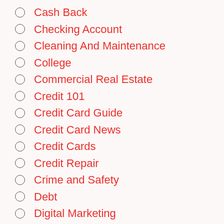Cash Back
Checking Account
Cleaning And Maintenance
College
Commercial Real Estate
Credit 101
Credit Card Guide
Credit Card News
Credit Cards
Credit Repair
Crime and Safety
Debt
Digital Marketing
DIY
Early Career